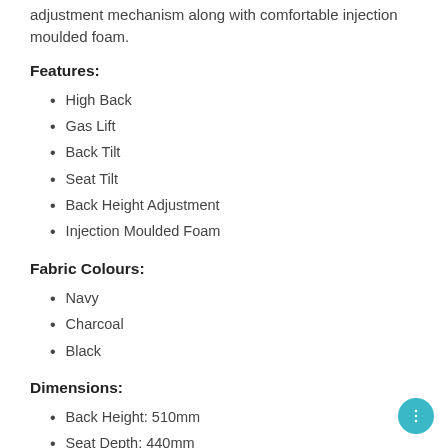adjustment mechanism along with comfortable injection moulded foam.
Features:
High Back
Gas Lift
Back Tilt
Seat Tilt
Back Height Adjustment
Injection Moulded Foam
Fabric Colours:
Navy
Charcoal
Black
Dimensions:
Back Height: 510mm
Seat Depth: 440mm
Seat Width: 490mm
Gas Height Range: 470-600mm (60cm)